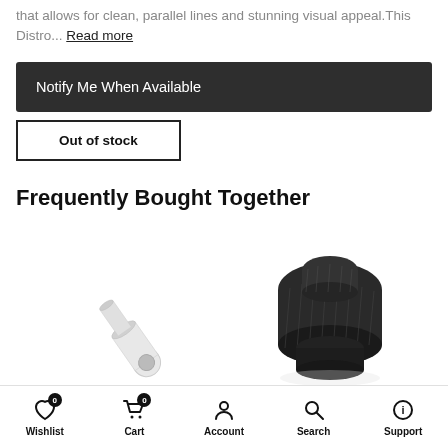that allows for clean, parallel lines and stunning visual appeal.This Distro... Read more
Notify Me When Available
Out of stock
Frequently Bought Together
[Figure (photo): Two product photos: a clear acrylic tube fitting and a dark knurled metal 90-degree elbow fitting for PC water cooling]
Wishlist 0 | Cart 0 | Account | Search | Support